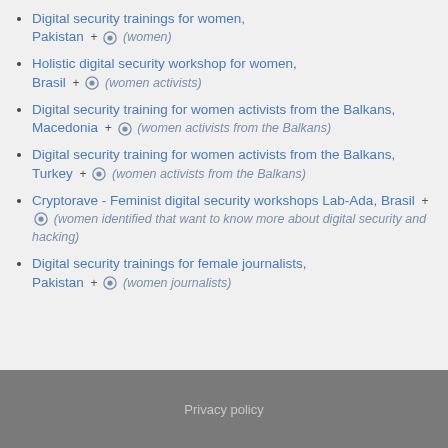Digital security trainings for women, Pakistan + (eye) (women)
Holistic digital security workshop for women, Brasil + (eye) (women activists)
Digital security training for women activists from the Balkans, Macedonia + (eye) (women activists from the Balkans)
Digital security training for women activists from the Balkans, Turkey + (eye) (women activists from the Balkans)
Cryptorave - Feminist digital security workshops Lab-Ada, Brasil + (eye) (women identified that want to know more about digital security and hacking)
Digital security trainings for female journalists, Pakistan + (eye) (women journalists)
Privacy policy